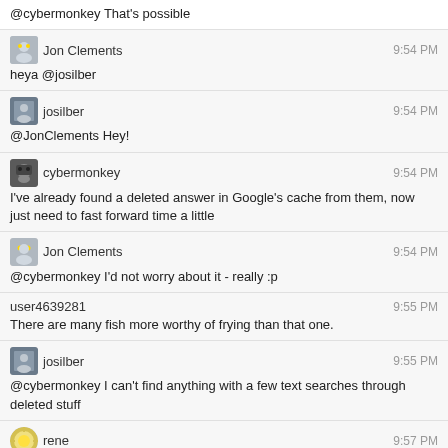@cybermonkey That's possible
Jon Clements  9:54 PM
heya @josilber
josilber  9:54 PM
@JonClements Hey!
cybermonkey  9:54 PM
I've already found a deleted answer in Google's cache from them, now just need to fast forward time a little
Jon Clements  9:54 PM
@cybermonkey I'd not worry about it - really :p
user4639281  9:55 PM
There are many fish more worthy of frying than that one.
josilber  9:55 PM
@cybermonkey I can't find anything with a few text searches through deleted stuff
rene  9:57 PM
So maybe @cybermonkey there is that (small) chance you are wrong, no?
cybermonkey  9:57 PM
@rene very small, but I remember most questions I visit, even if I'm not paying much attention to them